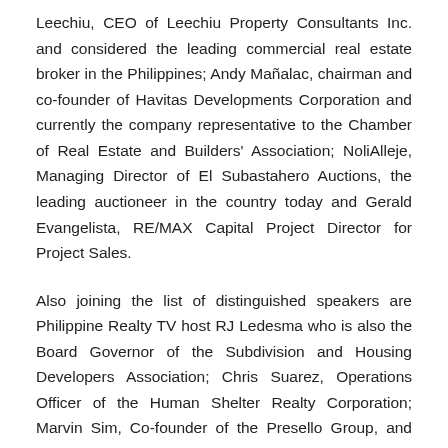Leechiu, CEO of Leechiu Property Consultants Inc. and considered the leading commercial real estate broker in the Philippines; Andy Mañalac, chairman and co-founder of Havitas Developments Corporation and currently the company representative to the Chamber of Real Estate and Builders' Association; NoliAlleje, Managing Director of El Subastahero Auctions, the leading auctioneer in the country today and Gerald Evangelista, RE/MAX Capital Project Director for Project Sales.
Also joining the list of distinguished speakers are Philippine Realty TV host RJ Ledesma who is also the Board Governor of the Subdivision and Housing Developers Association; Chris Suarez, Operations Officer of the Human Shelter Realty Corporation; Marvin Sim, Co-founder of the Presello Group, and internationa ti-awarded professional real estate broker from RE/MAX